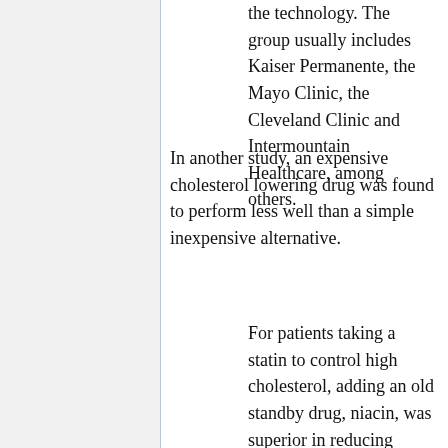the technology. The group usually includes Kaiser Permanente, the Mayo Clinic, the Cleveland Clinic and Intermountain Healthcare, among others.
In another study, an expensive cholesterol lowering drug was found to perform less well than a simple inexpensive alternative.
For patients taking a statin to control high cholesterol, adding an old standby drug, niacin, was superior in reducing buildup in the carotid artery to adding Zetia, a newer drug that reduces bad cholesterol, according to a new study.